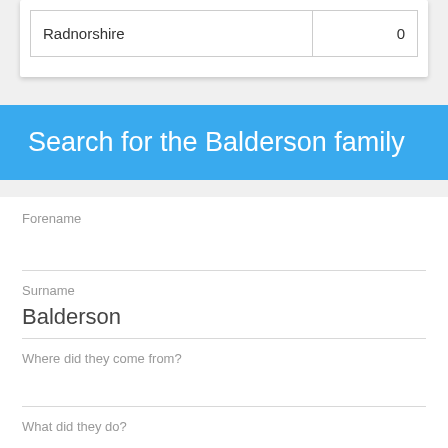| Radnorshire | 0 |
Search for the Balderson family
Forename
Surname
Balderson
Where did they come from?
What did they do?